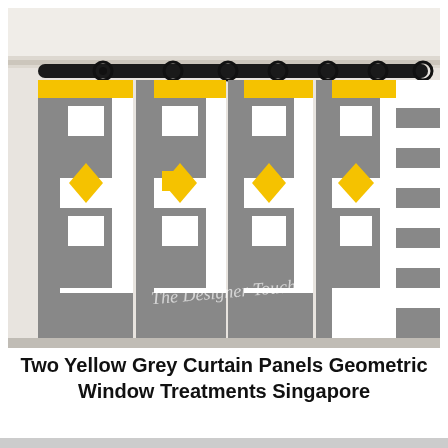[Figure (photo): Photo of yellow and grey geometric patterned curtain panels hung on a black curtain rod with black rings. The curtains feature a bold repeating geometric pattern with grey shapes on a white background and yellow accent shapes. A watermark reads 'The Designer Touch'.]
Two Yellow Grey Curtain Panels Geometric Window Treatments Singapore